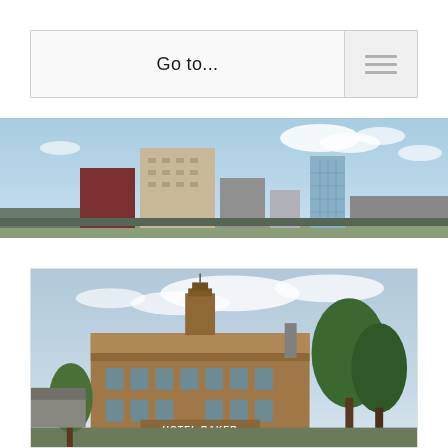[Figure (screenshot): Navigation bar with 'Go to...' text and hamburger menu icon on right]
[Figure (photo): City skyline with tall buildings against a blue sky with clouds]
[Figure (photo): Hotel Baker building, a historic brick structure with signage reading 'HOTEL BAKER', trees on the right side, against a cloudy sky]